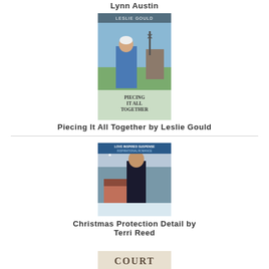Lynn Austin
[Figure (illustration): Book cover of 'Piecing It All Together' by Leslie Gould — shows an Amish woman outdoors with farm scenery]
Piecing It All Together by Leslie Gould
[Figure (illustration): Book cover of 'Christmas Protection Detail' by Terri Reed — Love Inspired Suspense, shows a man in winter clothing with snowy mountain lodge background]
Christmas Protection Detail by Terri Reed
[Figure (illustration): Partial book cover visible at bottom — shows the word 'COURT' in decorative font]